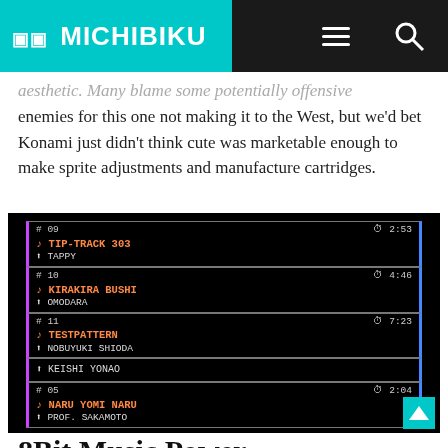🎵🎵 MICHIBIKU
aesthetic. Many blame some potentially offensive enemies for this one not making it to the West, but we'd bet Konami just didn't think cute was marketable enough to make sprite adjustments and manufacture cartridges.
[Figure (screenshot): Retro video game screenshot showing a music track list with entries: #09 TIP-TRACK 303 by TAPPY (2:53), #10 KIRAKIRA BUSHI by OMODARA (4:46), #11 TESTPATTERN by NOBUYUKI SHIODA (7:23), KEISHI YONAO, #05 NARU YOMI NARU by PROF. SAKAMOTO (2:04)]
8Bit Music Power